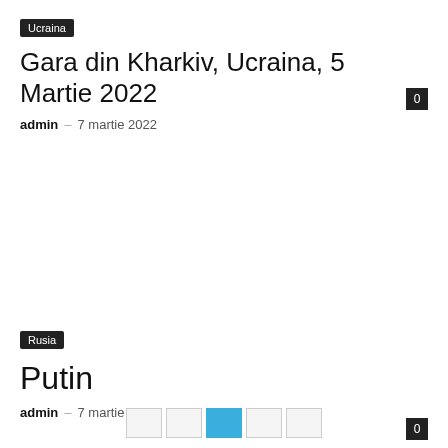Ucraina
Gara din Kharkiv, Ucraina, 5 Martie 2022
admin – 7 martie 2022
Rusia
Putin
admin – 7 martie 2022